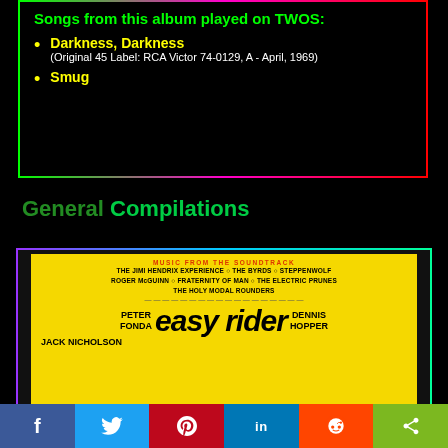Songs from this album played on TWOS:
Darkness, Darkness
(Original 45 Label: RCA Victor 74-0129, A - April, 1969)
Smug
General Compilations
[Figure (photo): Easy Rider soundtrack album cover — yellow background with 'MUSIC FROM THE SOUNDTRACK' header in red, listing The Jimi Hendrix Experience, The Byrds, Steppenwolf, Roger McGuinn, Fraternity of Man, The Electric Prunes, The Holy Modal Rounders. Features Peter Fonda, Easy Rider (large italic text), Dennis Hopper, Jack Nicholson.]
f  Twitter  Pinterest  in  Reddit  Share